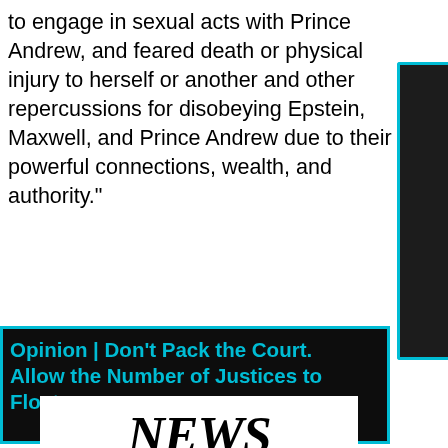to engage in sexual acts with Prince Andrew, and feared death or physical injury to herself or another and other repercussions for disobeying Epstein, Maxwell, and Prince Andrew due to their powerful connections, wealth, and authority."
Opinion | Don't Pack the Court. Allow the Number of Justices to Float.
[Figure (photo): A newspaper with 'NEWS' in large serif italic font and subtitle 'EWS OF BUSINESS WORLD' on a black bar, with columns of small text below.]